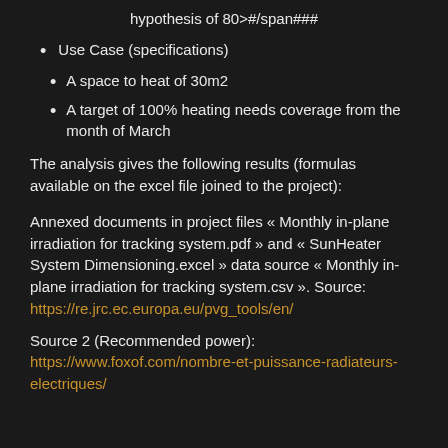hypothesis of 80>#/span###
Use Case (specifications)
A space to heat of 30m2
A target of 100% heating needs coverage from the month of March
The analysis gives the following results (formulas available on the excel file joined to the project):
Annexed documents in project files « Monthly in-plane irradiation for tracking system.pdf » and « SunHeater System Dimensioning.excel » data source « Monthly in-plane irradiation for tracking system.csv ». Source: https://re.jrc.ec.europa.eu/pvg_tools/en/
Source 2 (Recommended power): https://www.foxof.com/nombre-et-puissance-radiateurs-electriques/